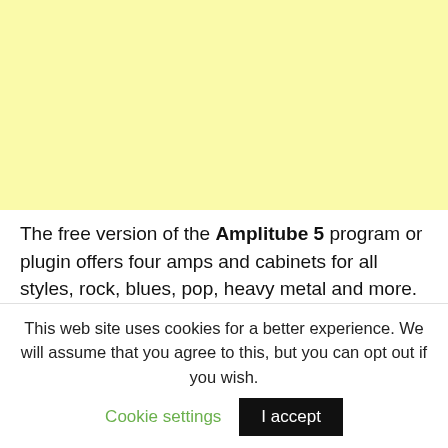[Figure (other): Light yellow rectangular background block filling the top portion of the page]
The free version of the Amplitube 5 program or plugin offers four amps and cabinets for all styles, rock, blues, pop, heavy metal and more.
This web site uses cookies for a better experience. We will assume that you agree to this, but you can opt out if you wish. Cookie settings  I accept